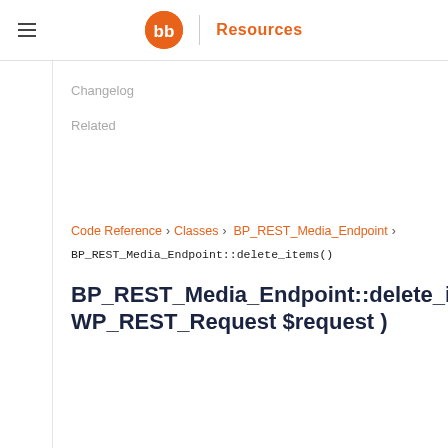Resources
Changelog
Related
Code Reference > Classes > BP_REST_Media_Endpoint > BP_REST_Media_Endpoint::delete_items()
BP_REST_Media_Endpoint::delete_items( WP_REST_Request $request )